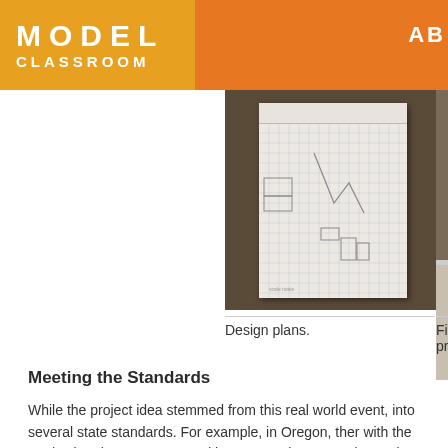MODEL CLASSROOM  AB
[Figure (photo): Photo of student design plans on graph paper, placed on a dark brown surface]
[Figure (photo): Partial photo of final product showing textured rock/gravel samples (top and bottom), cropped at right edge]
Design plans.
Final product.
Meeting the Standards
While the project idea stemmed from this real world event, into several state standards. For example, in Oregon, ther with the earth's interior processes and how waves interact ratios and proportions when working with scale and model